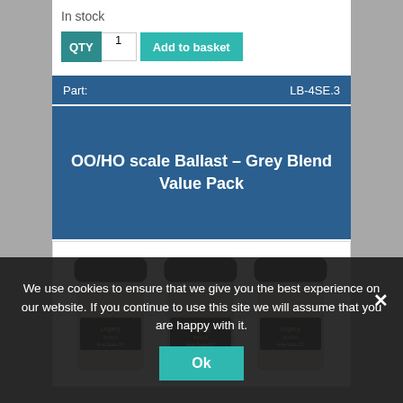In stock
QTY  1  Add to basket
| Part: | LB-4SE.3 |
| --- | --- |
OO/HO scale Ballast – Grey Blend Value Pack
[Figure (photo): Three jars of Legacy Ballast product for OO/HO scale model railways, grey blend, with black lids]
We use cookies to ensure that we give you the best experience on our website. If you continue to use this site we will assume that you are happy with it.
Ok